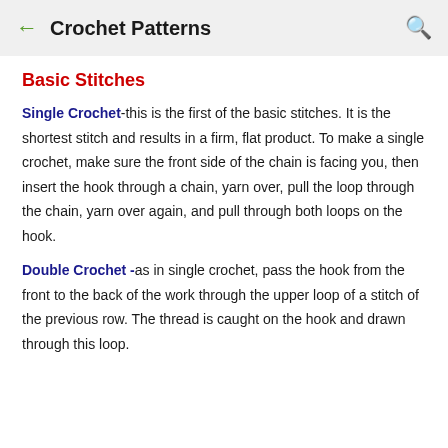← Crochet Patterns 🔍
Basic Stitches
Single Crochet-this is the first of the basic stitches. It is the shortest stitch and results in a firm, flat product. To make a single crochet, make sure the front side of the chain is facing you, then insert the hook through a chain, yarn over, pull the loop through the chain, yarn over again, and pull through both loops on the hook.
Double Crochet -as in single crochet, pass the hook from the front to the back of the work through the upper loop of a stitch of the previous row. The thread is caught on the hook and drawn through this loop.